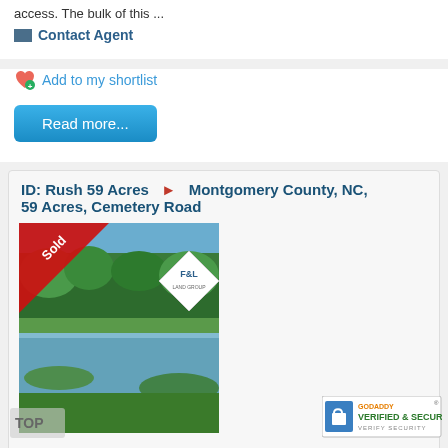access.  The bulk of this ...
Contact Agent
Add to my shortlist
Read more...
ID: Rush 59 Acres  ► Montgomery County, NC, 59 Acres, Cemetery Road
[Figure (photo): Property photo showing a pond or lake with green trees and vegetation, with a 'Sold' ribbon in top-left corner and F&L realty sign overlay]
Price :  $ 119,820
[Figure (logo): GoDaddy Verified & Secured badge with lock icon]